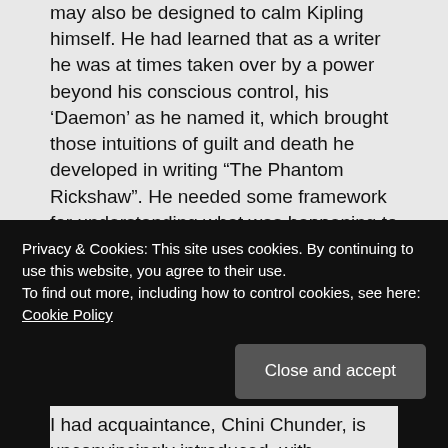may also be designed to calm Kipling himself. He had learned that as a writer he was at times taken over by a power beyond his conscious control, his ‘Daemon’ as he named it, which brought those intuitions of guilt and death he developed in writing “The Phantom Rickshaw”. He needed some framework for understanding what was happening to him. It may have been a relief to arrive at the formulation of a ‘half-memory falsely called imagination.’
The power of what Charlie recounts, his
Privacy & Cookies: This site uses cookies. By continuing to use this website, you agree to their use.
To find out more, including how to control cookies, see here:
Cookie Policy
Close and accept
I had acquaintance, Chini Chunder, is unconvincingly introduced, with